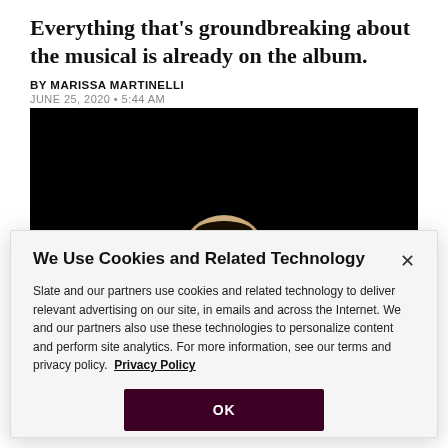Everything that's groundbreaking about the musical is already on the album.
BY MARISSA MARTINELLI
JUNE 25, 2020 • 5:44 AM
[Figure (photo): Dark photograph showing a person's face emerging from a black background, only the upper portion of the face visible]
We Use Cookies and Related Technology
Slate and our partners use cookies and related technology to deliver relevant advertising on our site, in emails and across the Internet. We and our partners also use these technologies to personalize content and perform site analytics. For more information, see our terms and privacy policy.  Privacy Policy
OK